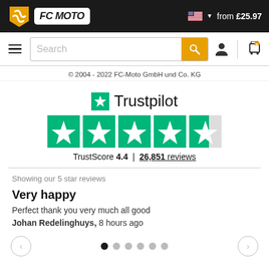[Figure (screenshot): FC-Moto website header with logo on dark background and price from £25.97]
[Figure (screenshot): Navigation bar with hamburger menu, search box, user icon and cart icon]
© 2004 - 2022 FC-Moto GmbH und Co. KG
[Figure (logo): Trustpilot logo with green star and brand name]
[Figure (other): Trustpilot rating: 4 full green star boxes and 1 partial star box (approx 4.4 out of 5)]
TrustScore 4.4  |  26,851 reviews
Showing our 5 star reviews
Very happy
Perfect thank you very much all good
Johan Redelinghuys, 8 hours ago
[Figure (other): Carousel navigation with left arrow, dots (first dot active/black), and right arrow]